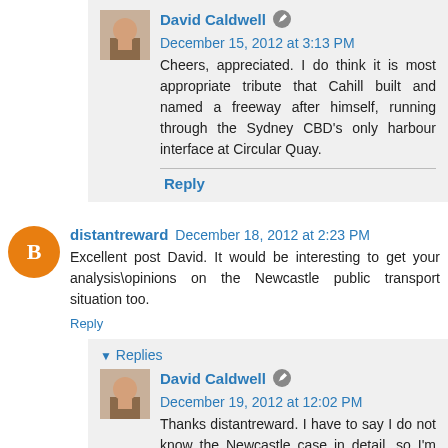[Figure (photo): Avatar thumbnail of David Caldwell]
David Caldwell  December 15, 2012 at 3:13 PM
Cheers, appreciated. I do think it is most appropriate tribute that Cahill built and named a freeway after himself, running through the Sydney CBD's only harbour interface at Circular Quay.
Reply
[Figure (illustration): Orange circle Blogger avatar with letter B]
distantreward  December 18, 2012 at 2:23 PM
Excellent post David. It would be interesting to get your analysis\opinions on the Newcastle public transport situation too.
Reply
▾ Replies
[Figure (photo): Avatar thumbnail of David Caldwell]
David Caldwell  December 19, 2012 at 12:02 PM
Thanks distantreward. I have to say I do not know the Newcastle case in detail, so I'm reluctant to give a